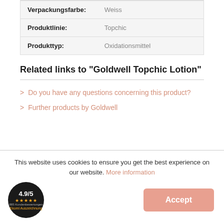| Verpackungsfarbe: | Weiss |
| Produktlinie: | Topchic |
| Produkttyp: | Oxidationsmittel |
Related links to "Goldwell Topchic Lotion"
> Do you have any questions concerning this product?
> Further products by Goldwell
This website uses cookies to ensure you get the best experience on our website. More information